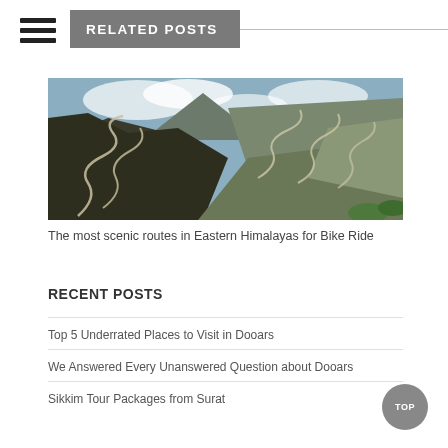RELATED POSTS
[Figure (photo): Winding mountain road through Eastern Himalayas with switchbacks visible on steep hillside, cloudy sky in background]
The most scenic routes in Eastern Himalayas for Bike Ride
RECENT POSTS
Top 5 Underrated Places to Visit in Dooars
We Answered Every Unanswered Question about Dooars
Sikkim Tour Packages from Surat